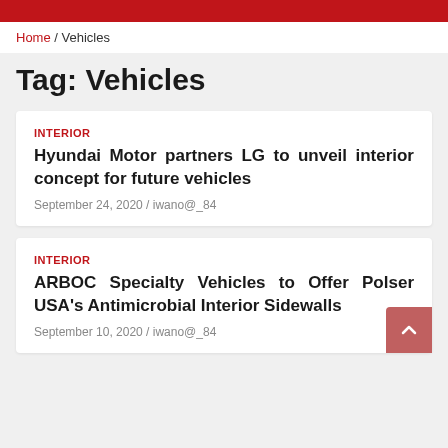Home / Vehicles
Tag: Vehicles
INTERIOR
Hyundai Motor partners LG to unveil interior concept for future vehicles
September 24, 2020 / iwano@_84
INTERIOR
ARBOC Specialty Vehicles to Offer Polser USA's Antimicrobial Interior Sidewalls
September 10, 2020 / iwano@_84